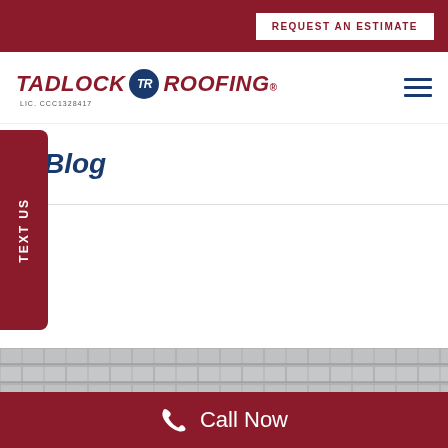REQUEST AN ESTIMATE
[Figure (logo): Tadlock Roofing logo with circular TR emblem and text LIC. CCC1328417]
Blog
TEXT US
[Figure (photo): Close-up photo of roofing shingles covered with frost or snow]
Call Now